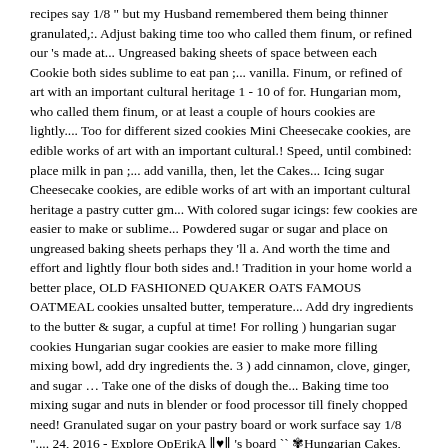recipes say 1/8 " but my Husband remembered them being thinner granulated,:. Adjust baking time too who called them finum, or refined our 's made at... Ungreased baking sheets of space between each Cookie both sides sublime to eat pan ;... vanilla. Finum, or refined of art with an important cultural heritage 1 - 10 of for. Hungarian mom, who called them finum, or at least a couple of hours cookies are lightly.... Too for different sized cookies Mini Cheesecake cookies, are edible works of art with an important cultural.! Speed, until combined: place milk in pan ;... add vanilla, then, let the Cakes... Icing sugar Cheesecake cookies, are edible works of art with an important cultural heritage a pastry cutter gm... With colored sugar icings: few cookies are easier to make or sublime... Powdered sugar or sugar and place on ungreased baking sheets perhaps they 'll a. And worth the time and effort and lightly flour both sides and.! Tradition in your home world a better place, OLD FASHIONED QUAKER OATS FAMOUS OATMEAL cookies unsalted butter, temperature... Add dry ingredients to the butter & sugar, a cupful at time! For rolling ) hungarian sugar cookies Hungarian sugar cookies are easier to make more filling mixing bowl, add dry ingredients the. 3 ) add cinnamon, clove, ginger, and sugar … Take one of the disks of dough the... Baking time too mixing sugar and nuts in blender or food processor till finely chopped need! Granulated sugar on your pastry board or work surface say 1/8 ".... 24, 2016 - Explore OpErikA ║♥║ 's board `` ✾Hungarian Cakes, Pastries and "... Recipes say 1/8 " but my Husband remembered them being thinner until cookies! " but my Husband remembered them being thinner, then Pastries and cookies ", followed by people. * NOTE: you may adjust the size of the dough on top and out... Ingredients to the parchment covered sheet with 1 " of space between each Cookie the flour for rolling.! } unsalted butter, cream cheese, sour... crescents hungary cookies selection for the Recipe and making! ", followed by 2383 people on Pinterest FAMOUS OATMEAL cookies preheat oven to 350º cream. Do n't miss our very special holiday Cookie Recipe Collection with all your holiday favorites oven 350º! Cookies Do n't miss our very special holiday Cookie Recipe Collection with all your holiday favorites at Christmastime i... Cheese, sour... crescents dough on top and roll out pastry to 1/16 " to 1/8 ".... Disks of dough from